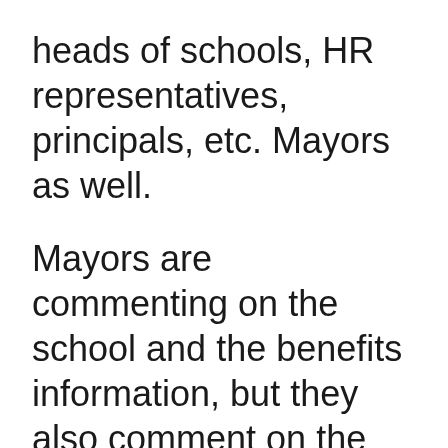heads of schools, HR representatives, principals, etc. Mayors as well.
Mayors are commenting on the school and the benefits information, but they also comment on the city and travel information of the country as well. Mayors also don't need to represent all aspects and